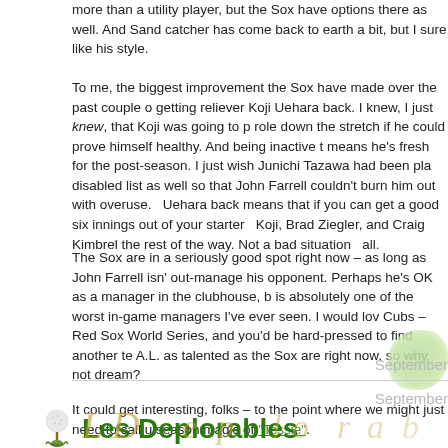more than a utility player, but the Sox have options there as well. And Sand catcher has come back to earth a bit, but I sure like his style.
To me, the biggest improvement the Sox have made over the past couple o getting reliever Koji Uehara back. I knew, I just knew, that Koji was going to p role down the stretch if he could prove himself healthy. And being inactive t means he's fresh for the post-season. I just wish Junichi Tazawa had been pla disabled list as well so that John Farrell couldn't burn him out with overuse. Uehara back means that if you can get a good six innings out of your starter Koji, Brad Ziegler, and Craig Kimbrel the rest of the way. Not a bad situation all.
The Sox are in a seriously good spot right now – as long as John Farrell isn't out-manage his opponent. Perhaps he's OK as a manager in the clubhouse, b is absolutely one of the worst in-game managers I've ever seen. I would lov Cubs – Red Sox World Series, and you'd be hard-pressed to find another te A.L. as talented as the Sox are right now, so why not dream?
It could get interesting, folks – to the point where we might just need to call u season magic of "Tessie".
Filed in: Golf & Sports by The Great White Shank at 20:45 | Co
September
Les Deplorables